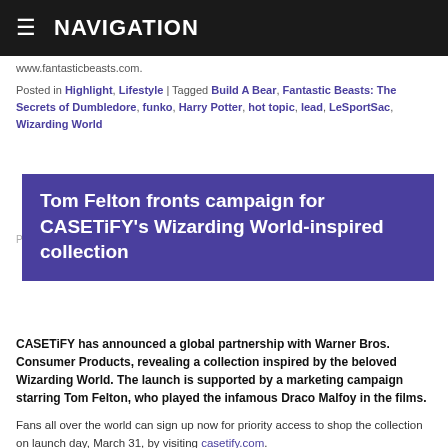NAVIGATION
www.fantasticbeasts.com.
Posted in Highlight, Lifestyle | Tagged Build A Bear, Fantastic Beasts: The Secrets of Dumbledore, funko, Harry Potter, hot topic, lead, LeSportSac, Wizarding World
Tom Felton fronts campaign for CASETiFY's Wizarding World-inspired collection
Posted on [date] by CASETiFY has announced a global partnership with Warner Bros. Consumer Products, revealing a collection inspired by the beloved Wizarding World. The launch is supported by a marketing campaign starring Tom Felton, who played the infamous Draco Malfoy in the films.
Fans all over the world can sign up now for priority access to shop the collection on launch day, March 31, by visiting casetify.com.
Available online and in CASETiFY stores, the new protective phone